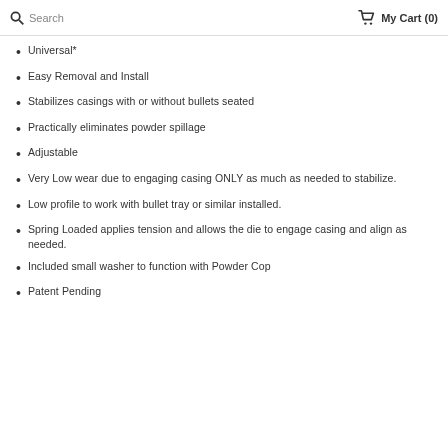Search   My Cart (0)
Universal*
Easy Removal and Install
Stabilizes casings with or without bullets seated
Practically eliminates powder spillage
Adjustable
Very Low wear due to engaging casing ONLY as much as needed to stabilize.
Low profile to work with bullet tray or similar installed.
Spring Loaded applies tension and allows the die to engage casing and align as needed.
Included small washer to function with Powder Cop
Patent Pending